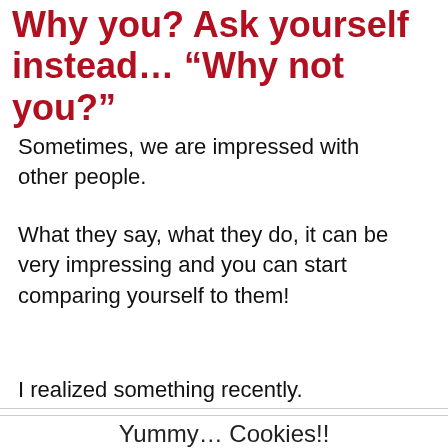Why you? Ask yourself instead… “Why not you?”
Sometimes, we are impressed with other people.
What they say, what they do, it can be very impressing and you can start comparing yourself to them!
I realized something recently.
Yummy… Cookies!!
This website uses cookies to improve your experience. We’ll assume you’re ok with this, but you can opt-out if you wish.
Yes! I LOVE cookies :)
Read More